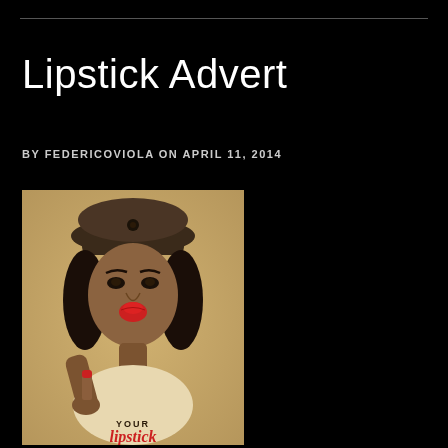Lipstick Advert
BY FEDERICOVIOLA ON APRIL 11, 2014
[Figure (illustration): Vintage-style illustration of a woman in a military cap with red lips, holding a lipstick. Text on poster reads 'YOUR lipstick NEEDS YOU!']